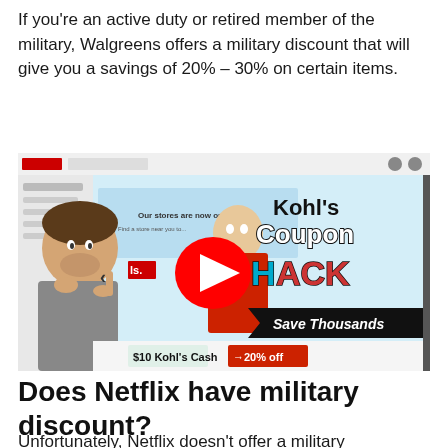If you're an active duty or retired member of the military, Walgreens offers a military discount that will give you a savings of 20% – 30% on certain items.
[Figure (screenshot): YouTube video thumbnail showing a Kohl's Coupon Hack video with a person thinking, Kohl's website in background, red YouTube play button, and text reading 'Kohl's Coupon HACK – Save Thousands' with '20% off' coupon visible.]
Does Netflix have military discount?
Unfortunately, Netflix doesn't offer a military